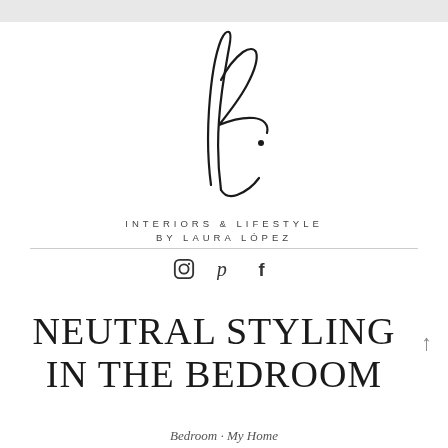[Figure (logo): Handwritten script monogram logo resembling stylized letters 'lf' with a dot, cursive signature style]
INTERIORS & LIFESTYLE
BY LAURA LÓPEZ
[Figure (other): Social media icons: Instagram camera, Pinterest P, Facebook f]
NEUTRAL STYLING IN THE BEDROOM
Bedroom · My Home